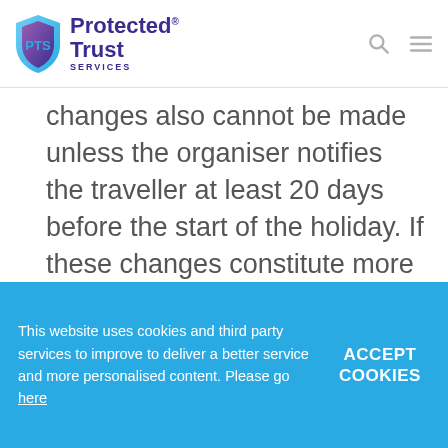Protected Trust Services
changes also cannot be made unless the organiser notifies the traveller at least 20 days before the start of the holiday. If these changes constitute more than 8% of the overall cost of the package, then the traveller does have the right to terminate the package with no
This website uses cookies and third party services to improve to deliver a better service and more personalised content. Please go here
ACCEPT COOKIES